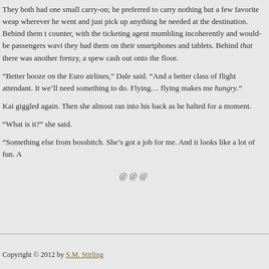They both had one small carry-on; he preferred to carry nothing but a few favorite weap wherever he went and just pick up anything he needed at the destination. Behind them t counter, with the ticketing agent mumbling incoherently and would-be passengers wavi they had them on their smartphones and tablets. Behind that there was another frenzy, a spew cash out onto the floor.
“Better booze on the Euro airlines,” Dale said. “And a better class of flight attendant. It we’ll need something to do. Flying… flying makes me hungry.”
Kai giggled again. Then she almost ran into his back as he halted for a moment.
“What is it?” she said.
“Something else from bossbitch. She’s got a job for me. And it looks like a lot of fun. A
@@@
Copyright © 2012 by S.M. Stirling